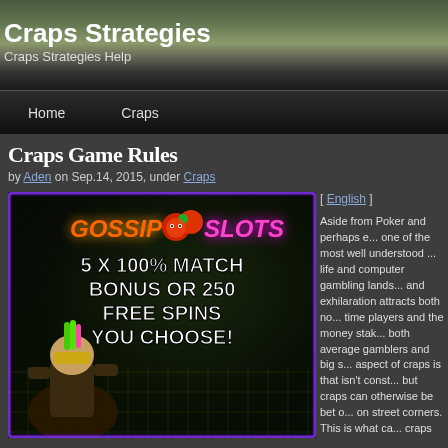Craps Strategies
Craps Strategies Help
Home   Craps
Craps Game Rules
by Aden on Sep.14, 2015, under Craps
[Figure (photo): Gossip Slots casino advertisement showing '5 X 100% MATCH BONUS OR 250 FREE SPINS YOU CHOOSE!' with a stylized character and colorful logo]
[ English ]

Aside from Poker and perhaps e... one of the most well understood ... life and computer gambling lands... and exhilaration attracts both no... time players and the money stak... both average gamblers and big s... aspect of craps is that isn't const... but craps can otherwise be bet o... on street corners. This is what ca... craps so popular because anyon... enjoy it.

Craps is uncomplicated to learn a... very complicated. Ordinarily, the ... a wonderful game of craps are a ... ...